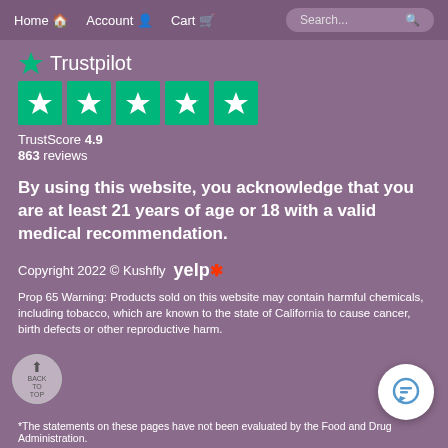Home  Account  Cart  Search...
[Figure (logo): Trustpilot logo with green star icon and text 'Trustpilot']
[Figure (other): Five green star rating boxes (TrustScore 4.9)]
TrustScore 4.9
863 reviews
By using this website, you acknowledge that you are at least 21 years of age or 18 with a valid medical recommendation.
Copyright 2022 © Kushfly  yelp
Prop 65 Warning: Products sold on this website may contain harmful chemicals, including tobacco, which are known to the state of California to cause cancer, birth defects or other reproductive harm.
* The statements on these pages have not been evaluated by the Food and Drug Administration.